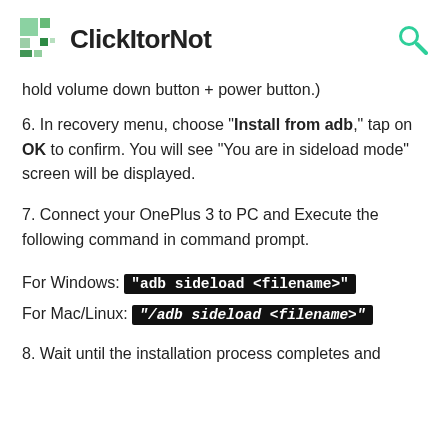ClickItorNot
hold volume down button + power button.)
6. In recovery menu, choose "Install from adb," tap on OK to confirm. You will see "You are in sideload mode" screen will be displayed.
7. Connect your OnePlus 3 to PC and Execute the following command in command prompt.
For Windows: "adb sideload <filename>"
For Mac/Linux: "/adb sideload <filename>"
8. Wait until the installation process completes and